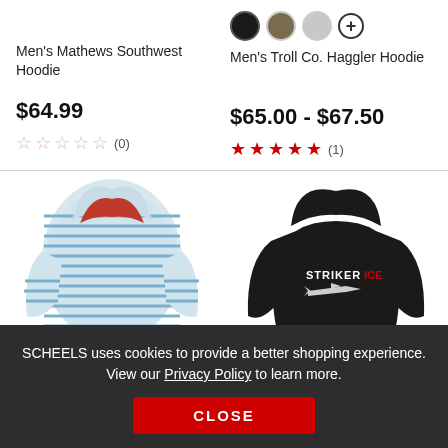Men's Mathews Southwest Hoodie
$64.99
☆☆☆☆☆ (0)
Men's Troll Co. Haggler Hoodie
$65.00 - $67.50
★★★★★ (1)
[Figure (photo): Striped blue and white hoodie with red inner lining]
[Figure (photo): Black hoodie with STRIKER logo and airplane graphic]
SCHEELS uses cookies to provide a better shopping experience. View our Privacy Policy to learn more.
CLOSE